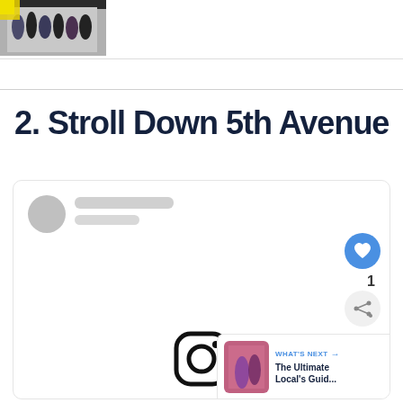[Figure (photo): Group of people standing in front of a building with yellow signage]
2. Stroll Down 5th Avenue
[Figure (screenshot): Social media card placeholder with avatar, loading skeleton lines, heart button showing 1 like, share button, and Instagram icon at bottom. Includes a 'What's Next' overlay thumbnail showing 'The Ultimate Local's Guid...']